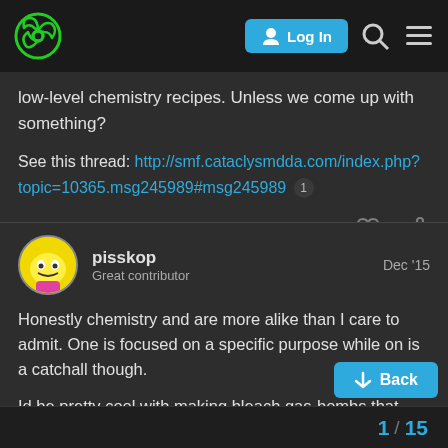Cataclysm DDA forum navigation bar with logo, Log In button, search and menu icons
low-level chemistry recipes. Unless we come up with something?
See this thread: http://smf.cataclysmdda.com/index.php?topic=10365.msg245989#msg245989 1
pisskop  Dec '15
Great contributor
Honestly chemistry and are more alike than I care to admit. One is focused on a specific purpose while on is a catchall though.
Id be pretty cool with making bleach gas-bombs that poison organics or syringes of poison for contact kills a animals (that taints meat) or simply making chemistry what it is; a hard fought profession
1 / 15